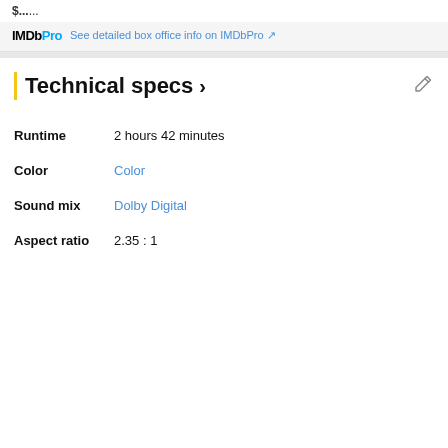$...,... (truncated top)
IMDbPro See detailed box office info on IMDbPro ↗
Technical specs >
Runtime  2 hours 42 minutes
Color  Color
Sound mix  Dolby Digital
Aspect ratio  2.35 : 1